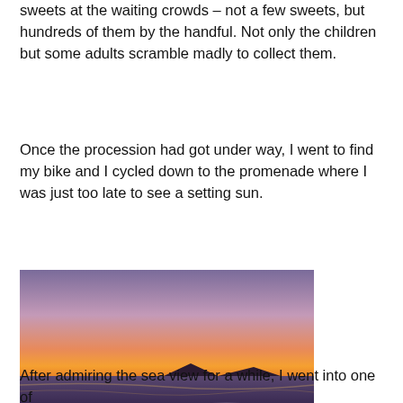sweets at the waiting crowds – not a few sweets, but hundreds of them by the handful. Not only the children but some adults scramble madly to collect them.
Once the procession had got under way, I went to find my bike and I cycled down to the promenade where I was just too late to see a setting sun.
[Figure (photo): A photograph of a beach at sunset. The sky is purple and pink fading to a warm orange along the horizon. The sea is visible with gentle waves, and a dark shoreline with sand and pebbles in the foreground. A mountain silhouette is visible on the horizon.]
After admiring the sea view for a while, I went into one of